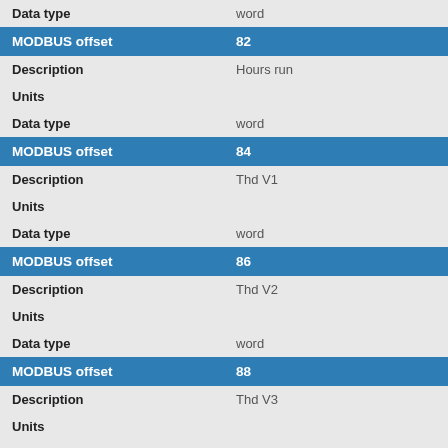| Field | Value |
| --- | --- |
| Data type | word |
| MODBUS offset | 82 |
| Description | Hours run |
| Units |  |
| Data type | word |
| MODBUS offset | 84 |
| Description | Thd V1 |
| Units |  |
| Data type | word |
| MODBUS offset | 86 |
| Description | Thd V2 |
| Units |  |
| Data type | word |
| MODBUS offset | 88 |
| Description | Thd V3 |
| Units |  |
| Data type | word |
| MODBUS offset | 90 |